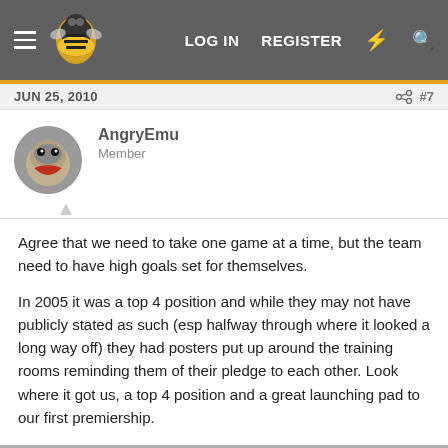LOG IN  REGISTER
JUN 25, 2010  #7
AngryEmu
Member
Agree that we need to take one game at a time, but the team need to have high goals set for themselves.

In 2005 it was a top 4 position and while they may not have publicly stated as such (esp halfway through where it looked a long way off) they had posters put up around the training rooms reminding them of their pledge to each other. Look where it got us, a top 4 position and a great launching pad to our first premiership.
JUN 25, 2010  #8